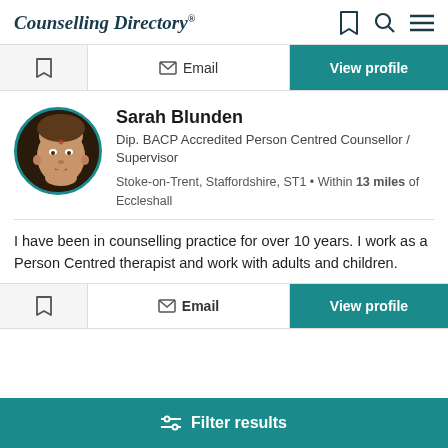Counselling Directory
[Figure (screenshot): Action bar with bookmark icon, Email button, and View profile teal button]
[Figure (photo): Circular profile photo of Sarah Blunden with teal border]
Sarah Blunden
Dip. BACP Accredited Person Centred Counsellor / Supervisor
Stoke-on-Trent, Staffordshire, ST1 • Within 13 miles of Eccleshall
I have been in counselling practice for over 10 years. I work as a Person Centred therapist and work with adults and children.
[Figure (screenshot): Bottom action bar with bookmark icon, Email button, and View profile teal button]
Filter results